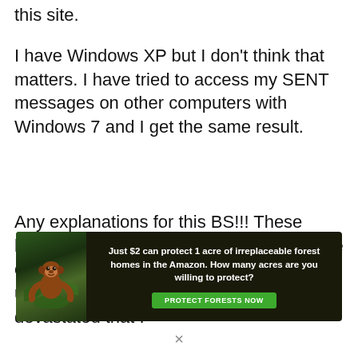this site.
I have Windows XP but I don't think that matters. I have tried to access my SENT messages on other computers with Windows 7 and I get the same result.
Any explanations for this BS!!! These hundreds of SENT emails were to the love of my life, who died suddenly, unexpectedly, this past January. I am devastated that I
[Figure (other): Advertisement banner: forest conservation charity ad. Text reads 'Just $2 can protect 1 acre of irreplaceable forest homes in the Amazon. How many acres are you willing to protect?' with a green 'PROTECT FORESTS NOW' button and an image of an orangutan in jungle foliage.]
×